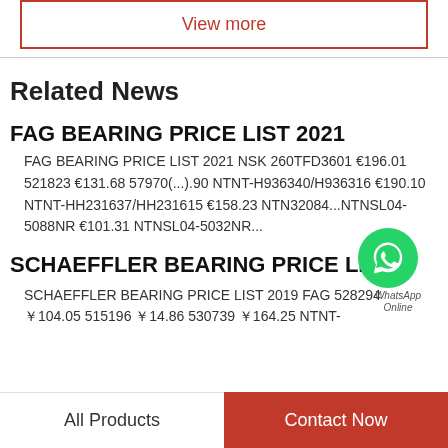View more
Related News
FAG BEARING PRICE LIST 2021
FAG BEARING PRICE LIST 2021 NSK 260TFD3601 €196.01 521823 €131.68 57970(...).90 NTNT-H936340/H936316 €190.10 NTNT-HH231637/HH231615 €158.23 NTN32084...NTNSL04-5088NR €101.31 NTNSL04-5032NR...
SCHAEFFLER BEARING PRICE LIS...
SCHAEFFLER BEARING PRICE LIST 2019 FAG 528294 ￥104.05 515196 ￥14.86 530739 ￥164.25 NTNT-
All Products   Contact Now